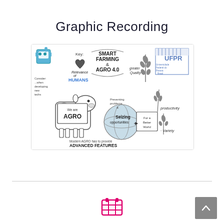Graphic Recording
[Figure (illustration): Graphic recording illustration about Smart Farming & Agro 4.0. Features hand-drawn style sketches including: a blue robot, a cow with 'We are AGRO' sign, a globe with 'Seizing Opportunities' and 'For a Better World', wheat stalks, UFPR university logo, text annotations including 'Key:', 'Relevance of HUMANS', 'Consider: ...when developing new techs', 'Preventing problems &', 'greater Quality', 'Productivity', 'Variety', 'Modern AGRO has to provide ADVANCED FEATURES']
[Figure (illustration): Pink/magenta icon of a calendar or grid at the bottom center of the page]
[Figure (illustration): Gray scroll-to-top button at bottom right]